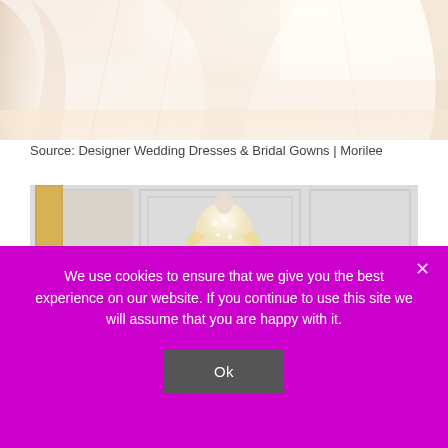[Figure (photo): Close-up photo of a white bridal veil/dress fabric with soft light tones and flowing fabric against bright background]
Source: Designer Wedding Dresses & Bridal Gowns | Morilee
[Figure (photo): Wedding dress displayed on a mannequin in a room with white paneled walls and a gold-framed mirror; the gown features lace bodice and long sleeves]
We use cookies to ensure that we give you the best experience on our website. If you continue to use this site we will assume that you are happy with it.